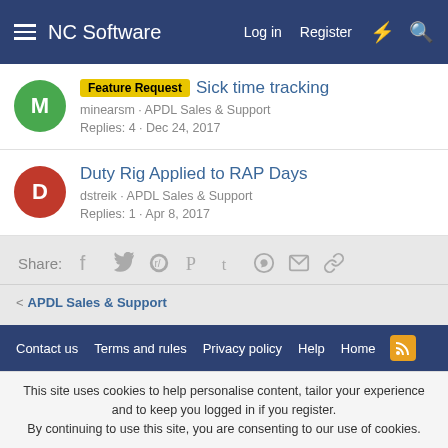NC Software | Log in | Register
Feature Request | Sick time tracking | minearsm · APDL Sales & Support | Replies: 4 · Dec 24, 2017
Duty Rig Applied to RAP Days | dstreik · APDL Sales & Support | Replies: 1 · Apr 8, 2017
Share: [facebook] [twitter] [reddit] [pinterest] [tumblr] [whatsapp] [email] [link]
< APDL Sales & Support
Contact us | Terms and rules | Privacy policy | Help | Home | [RSS]
This site uses cookies to help personalise content, tailor your experience and to keep you logged in if you register. By continuing to use this site, you are consenting to our use of cookies.
Accept | Learn more...